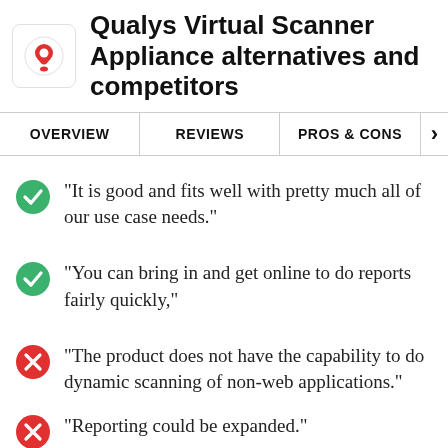Qualys Virtual Scanner Appliance alternatives and competitors
OVERVIEW | REVIEWS | PROS & CONS
"It is good and fits well with pretty much all of our use case needs."
"You can bring in and get online to do reports fairly quickly,"
"The product does not have the capability to do dynamic scanning of non-web applications."
"Reporting could be expanded."